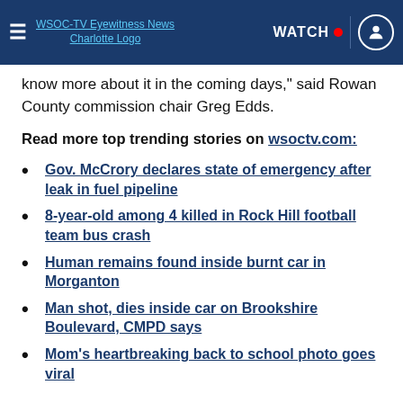WSOC-TV Eyewitness News Charlotte Logo | WATCH | [user icon]
know more about it in the coming days," said Rowan County commission chair Greg Edds.
Read more top trending stories on wsoctv.com:
Gov. McCrory declares state of emergency after leak in fuel pipeline
8-year-old among 4 killed in Rock Hill football team bus crash
Human remains found inside burnt car in Morganton
Man shot, dies inside car on Brookshire Boulevard, CMPD says
Mom's heartbreaking back to school photo goes viral